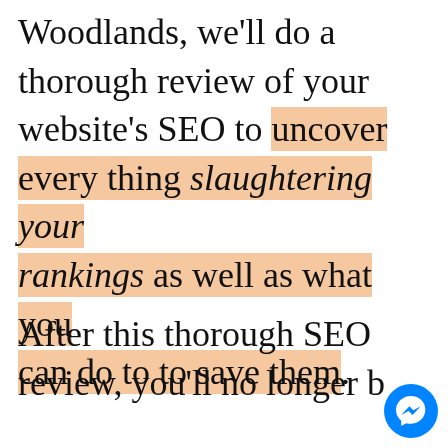Woodlands, we'll do a thorough review of your website's SEO to uncover every thing slaughtering your rankings as well as what you can do to to save them.
After this thorough SEO review, you'll no longer b...
[Figure (illustration): Facebook Messenger chat button icon — blue circle with white speech bubble/lightning bolt logo]